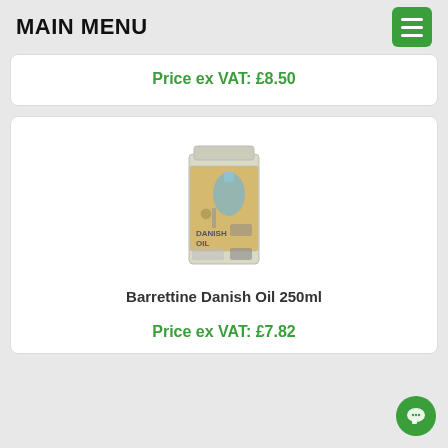MAIN MENU
Price ex VAT: £8.50
[Figure (photo): Barrettine Danish Oil 250ml tin with yellow label and blue paint brush graphic]
Barrettine Danish Oil 250ml
Price ex VAT: £7.82